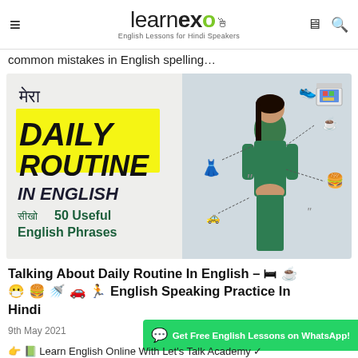learnex – English Lessons for Hindi Speakers
common mistakes in English spelling…
[Figure (illustration): Thumbnail image for a video about 'Mera Daily Routine in English – Seekho 50 Useful English Phrases' featuring a woman in green dress with lifestyle icons (coffee, shoes, laptop, burger, dress, car) connected by lines, text in Hindi and English on a light background.]
Talking About Daily Routine In English – 🛏 ☕ 😷 🍔 🚿 🚗 🏃 English Speaking Practice In Hindi
9th May 2021
Get Free English Lessons on WhatsApp!
👉 📗 Learn English Online With Let's Talk Academy ✓